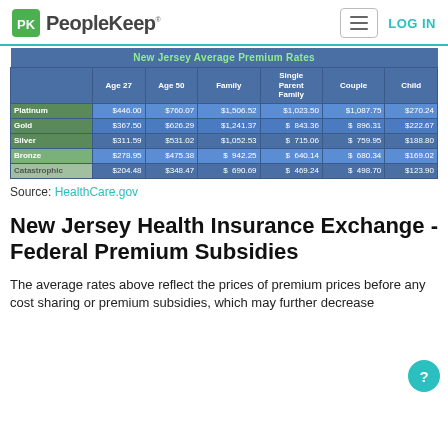PeopleKeep — LOG IN
|  | Age 27 | Age 50 | Family | Single Parent Family | Couple | Child |
| --- | --- | --- | --- | --- | --- | --- |
| Platinum | $446.00 | $760.07 | $1,506.52 | $1,023.50 | $1,087.75 | $270.24 |
| Gold | $367.50 | $626.29 | $1,241.37 | $ 843.36 | $ 896.31 | $222.67 |
| Silver | $311.59 | $531.02 | $1,052.53 | $ 715.06 | $ 759.95 | $188.80 |
| Bronze | $278.95 | $475.38 | $ 942.25 | $ 640.14 | $ 680.34 | $169.02 |
| Catastrophic | $204.48 | $348.47 | $ 690.69 | $ 469.24 | $ 498.70 | $123.90 |
Source: HealthCare.gov
New Jersey Health Insurance Exchange - Federal Premium Subsidies
The average rates above reflect the prices of premium prices before any cost sharing or premium subsidies, which may further decrease